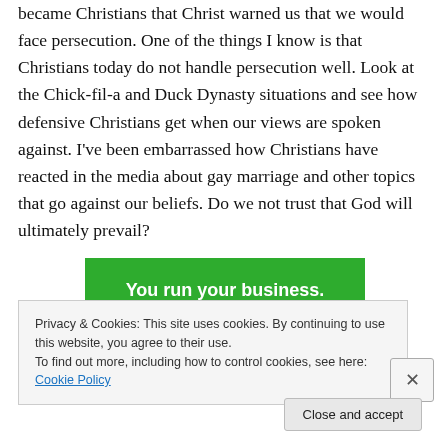became Christians that Christ warned us that we would face persecution. One of the things I know is that Christians today do not handle persecution well. Look at the Chick-fil-a and Duck Dynasty situations and see how defensive Christians get when our views are spoken against. I've been embarrassed how Christians have reacted in the media about gay marriage and other topics that go against our beliefs. Do we not trust that God will ultimately prevail?
[Figure (other): Green advertisement banner with white bold text reading 'You run your business.']
Privacy & Cookies: This site uses cookies. By continuing to use this website, you agree to their use.
To find out more, including how to control cookies, see here: Cookie Policy
Close and accept